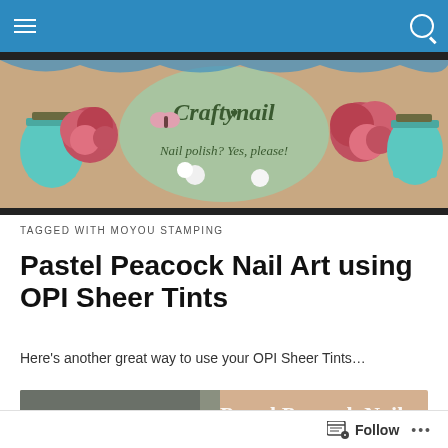Navigation bar with hamburger menu and search icon
[Figure (illustration): Craftynail blog banner with roses, mason jars, butterflies and text reading 'Craftynail - Nail polish? Yes, please!']
TAGGED WITH MOYOU STAMPING
Pastel Peacock Nail Art using OPI Sheer Tints
Here’s another great way to use your OPI Sheer Tints…
[Figure (photo): Partial thumbnail image showing Pastel Peacock Nail Art]
Follow •••